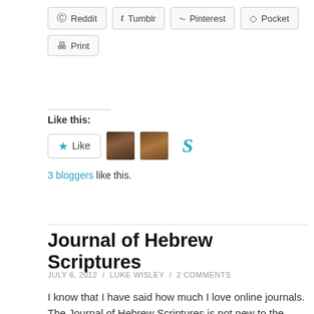[Figure (screenshot): Social sharing buttons: Reddit, Tumblr, Pinterest, Pocket, Print]
Like this:
[Figure (screenshot): Like button with star icon, and 3 blogger avatars (two photos, one letter S)]
3 bloggers like this.
Journal of Hebrew Scriptures
JULY 6, 2012 / LUKE WISLEY / 2 COMMENTS
I know that I have said how much I love online journals. The Journal of Hebrew Scriptures is not new to the online world but I had not yet added it to the blog. You can access the journal here or through the resources